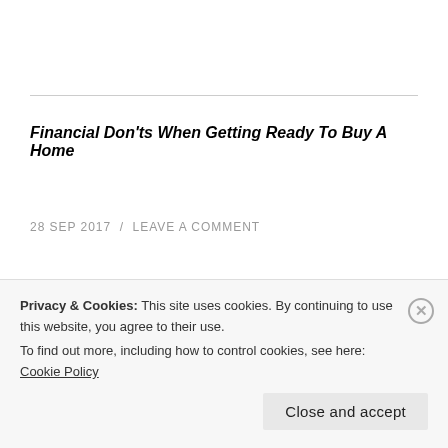Financial Don'ts When Getting Ready To Buy A Home
28 SEP 2017  /  LEAVE A COMMENT
If you're in the process of buying a
Privacy & Cookies: This site uses cookies. By continuing to use this website, you agree to their use.
To find out more, including how to control cookies, see here: Cookie Policy